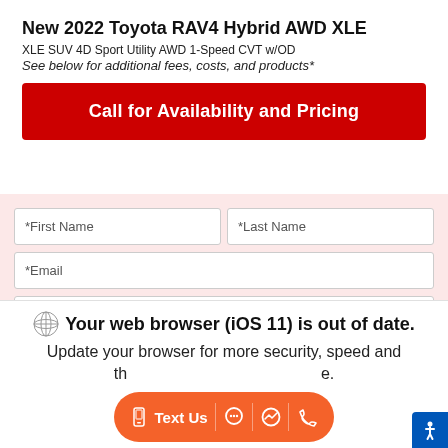New 2022 Toyota RAV4 Hybrid AWD XLE
XLE SUV 4D Sport Utility AWD 1-Speed CVT w/OD
See below for additional fees, costs, and products*
Call for Availability and Pricing
*First Name
*Last Name
*Email
*Phone
I PREFER TO TEXT
Get Instant E-Price
Your web browser (iOS 11) is out of date. Update your browser for more security, speed and the best experience on this site.
Text Us